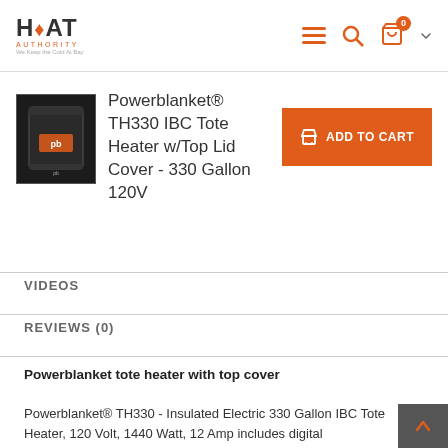Heat Authority — Navigation header with logo, menu, search, and cart icons
Powerblanket® TH330 IBC Tote Heater w/Top Lid Cover - 330 Gallon 120V
[Figure (photo): Product photo of black insulated IBC tote heater blanket with Powerblanket logo]
ADD TO CART button
VIDEOS
REVIEWS (0)
Powerblanket tote heater with top cover
Powerblanket® TH330 - Insulated Electric 330 Gallon IBC Tote Heater, 120 Volt, 1440 Watt, 12 Amp includes digital